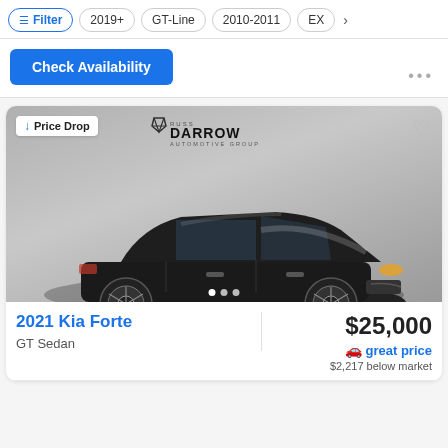Filter | 2019+ | GT-Line | 2010-2011 | EX
Check Availability
[Figure (photo): Black 2021 Kia Forte GT Sedan on a dealer showroom turntable with a gray gradient background. Russ Darrow Automotive Group dealer logo visible at top center. Price Drop badge in top left corner. Favorite heart icon in top right.]
2021 Kia Forte
GT Sedan
$25,000
great price
$2,217 below market